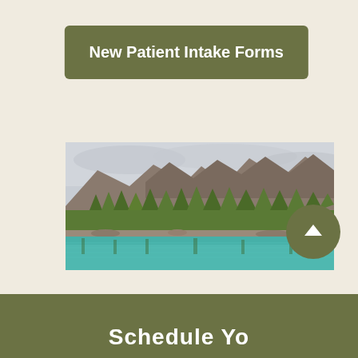New Patient Intake Forms
[Figure (photo): Landscape photo of a mountain lake with turquoise water, pine forest in the foreground, and rocky mountain peaks under a cloudy sky]
Schedule Yo...